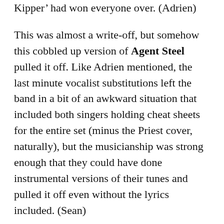Kipper' had won everyone over. (Adrien)
This was almost a write-off, but somehow this cobbled up version of Agent Steel pulled it off. Like Adrien mentioned, the last minute vocalist substitutions left the band in a bit of an awkward situation that included both singers holding cheat sheets for the entire set (minus the Priest cover, naturally), but the musicianship was strong enough that they could have done instrumental versions of their tunes and pulled it off even without the lyrics included. (Sean)
It may come as a surprise to some of you clowns that I was greatly looking forward to finally seeing Agent Steel live and in the flesh. And of course, they totally let me down. I remember the days of listening to Brian Taylor's 'Aggressive Rock' radio show on